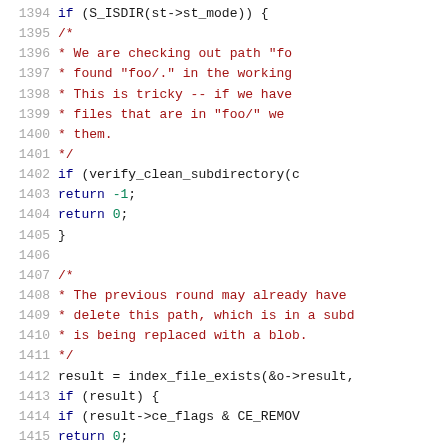[Figure (screenshot): Source code viewer showing C code lines 1394-1415 with line numbers on the left in gray, keywords in dark blue, comments in red/brown, and regular code in black on white background.]